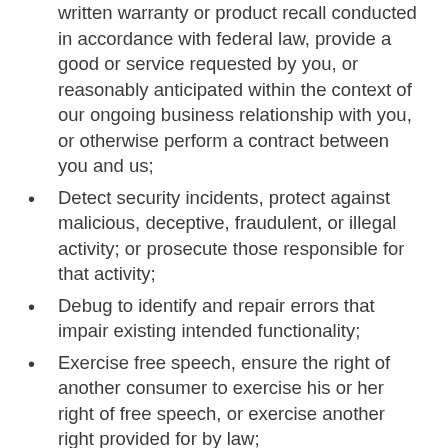written warranty or product recall conducted in accordance with federal law, provide a good or service requested by you, or reasonably anticipated within the context of our ongoing business relationship with you, or otherwise perform a contract between you and us;
Detect security incidents, protect against malicious, deceptive, fraudulent, or illegal activity; or prosecute those responsible for that activity;
Debug to identify and repair errors that impair existing intended functionality;
Exercise free speech, ensure the right of another consumer to exercise his or her right of free speech, or exercise another right provided for by law;
Comply with the California Electronic Communications Privacy